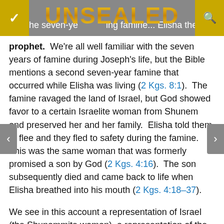UNSEALED
he seven-ye... Elisha the prophet.  We're all well familiar with the seven years of famine during Joseph's life, but the Bible mentions a second seven-year famine that occurred while Elisha was living (2 Kgs. 8:1).  The famine ravaged the land of Israel, but God showed favor to a certain Israelite woman from Shunem and preserved her and her family.  Elisha told them to flee and they fled to safety during the famine.  This was the same woman that was formerly promised a son by God (2 Kgs. 4:16).  The son subsequently died and came back to life when Elisha breathed into his mouth (2 Kgs. 4:18–37).
We see in this account a representation of Israel (the Shunammite woman), a representation of the seven-year Tribulation (the seven-year famine), a representation of Jesus (the Hebrew son of promise who died and rose again